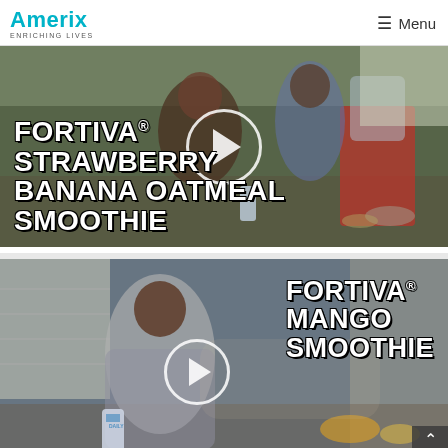Amerix ENRICHING LIVES | Menu
[Figure (screenshot): Video thumbnail showing two people in a kitchen with a blender and ingredients. Text overlay reads FORTIVA® STRAWBERRY BANANA OATMEAL SMOOTHIE with a play button in the center.]
[Figure (screenshot): Video thumbnail showing a person in a hoodie holding a bottle in a kitchen setting. Text overlay reads FORTIVA® MANGO SMOOTHIE with a play button. A scroll-to-top arrow button appears in the bottom right corner.]